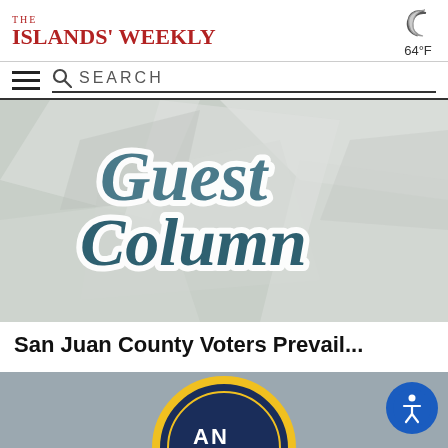The Islands' Weekly — 64°F
[Figure (screenshot): Navigation bar with hamburger menu icon and search bar labeled SEARCH]
[Figure (photo): Guest Column decorative image with stylized cursive text reading 'Guest Column' in teal/blue on a paper background]
San Juan County Voters Prevail...
[Figure (photo): Partial view of a circular badge/logo at bottom of page]
[Figure (other): Accessibility button (circular blue icon with person/wheelchair symbol) in bottom right corner]